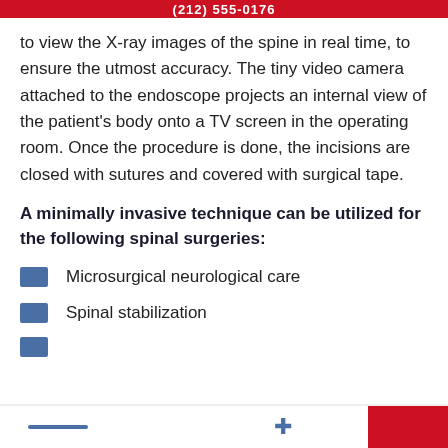(212) 555-0176
to view the X-ray images of the spine in real time, to ensure the utmost accuracy. The tiny video camera attached to the endoscope projects an internal view of the patient’s body onto a TV screen in the operating room. Once the procedure is done, the incisions are closed with sutures and covered with surgical tape.
A minimally invasive technique can be utilized for the following spinal surgeries:
Microsurgical neurological care
Spinal stabilization